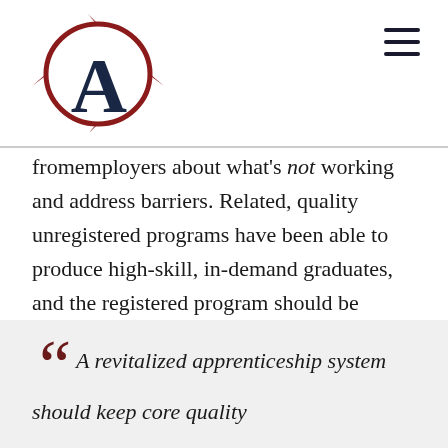fromemployers about what's not working and address barriers. Related, quality unregistered programs have been able to produce high-skill, in-demand graduates, and the registered program should be willing to learn and adapt from other successful models.
“ A revitalized apprenticeship system should keep core quality